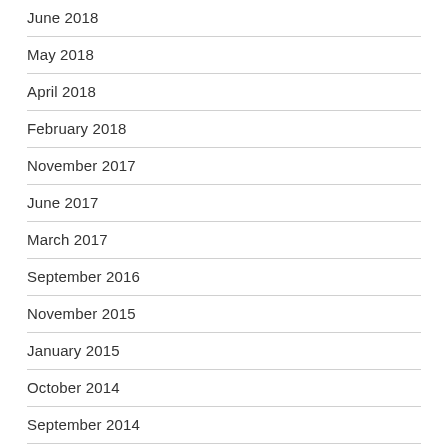June 2018
May 2018
April 2018
February 2018
November 2017
June 2017
March 2017
September 2016
November 2015
January 2015
October 2014
September 2014